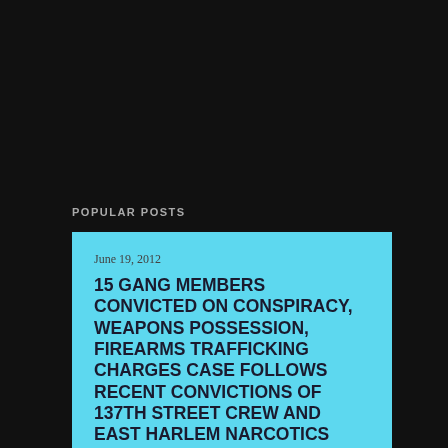POPULAR POSTS
June 19, 2012
15 GANG MEMBERS CONVICTED ON CONSPIRACY, WEAPONS POSSESSION, FIREARMS TRAFFICKING CHARGES CASE FOLLOWS RECENT CONVICTIONS OF 137TH STREET CREW AND EAST HARLEM NARCOTICS TRAFFICKING ORGANIZATION